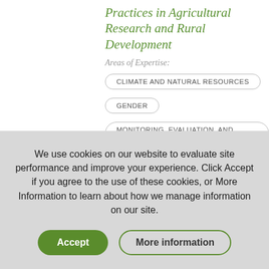Practices in Agricultural Research and Rural Development
Areas of Expertise:
CLIMATE AND NATURAL RESOURCES
GENDER
MONITORING, EVALUATION, AND LEARNING
We use cookies on our website to evaluate site performance and improve your experience. Click Accept if you agree to the use of these cookies, or More Information to learn about how we manage information on our site.